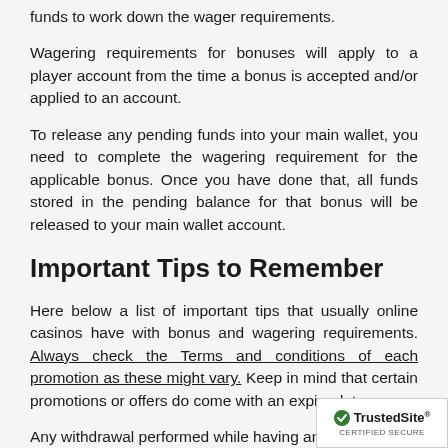funds to work down the wager requirements.
Wagering requirements for bonuses will apply to a player account from the time a bonus is accepted and/or applied to an account.
To release any pending funds into your main wallet, you need to complete the wagering requirement for the applicable bonus. Once you have done that, all funds stored in the pending balance for that bonus will be released to your main wallet account.
Important Tips to Remember
Here below a list of important tips that usually online casinos have with bonus and wagering requirements. Always check the Terms and conditions of each promotion as these might vary. Keep in mind that certain promotions or offers do come with an expiry date.
Any withdrawal performed while having an active
[Figure (logo): TrustedSite CERTIFIED SECURE badge in bottom right corner]